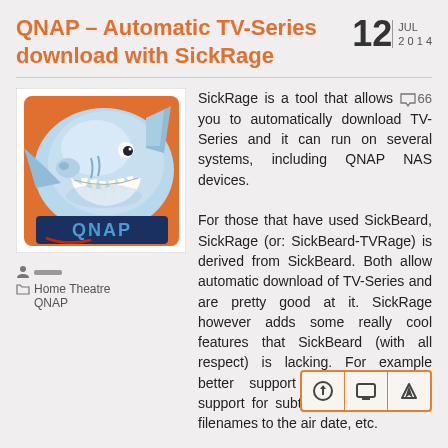QNAP – Automatic TV-Series download with SickRage
12 JUL 2014
[Figure (illustration): Cartoon shark with QNAP logo — the SickRage/QNAP application logo image]
Home Theatre
QNAP
SickRage is a tool that allows you to automatically download TV-Series and it can run on several systems, including QNAP NAS devices.

For those that have used SickBeard, SickRage (or: SickBeard-TVRage) is derived from SickBeard. Both allow automatic download of TV-Series and are pretty good at it. SickRage however adds some really cool features that SickBeard (with all respect) is lacking. For example better support for Torrents and support for subtitles, dating episode filenames to the air date, etc.
I've written this article after migrating from SickBeard to SickRage on an Intel based QNAP. Having SickBeard installed for a while though and experience with SickBeard, although helpful, is not